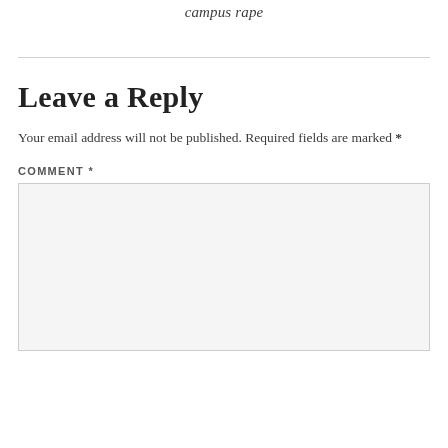campus rape
Leave a Reply
Your email address will not be published. Required fields are marked *
COMMENT *
[Figure (other): Empty comment text area input box with light gray background]